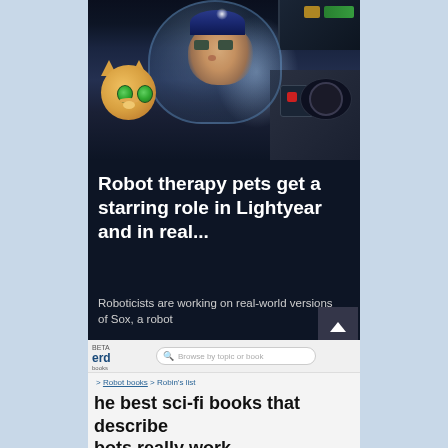[Figure (illustration): Animated scene from Lightyear movie showing Buzz Lightyear in space suit helmet and a small orange robot cat companion (Sox)]
Robot therapy pets get a starring role in Lightyear and in real...
Roboticists are working on real-world versions of Sox, a robot
[Figure (screenshot): Screenshot of a website (beta nerd books) with search bar showing 'Browse by topic or book', breadcrumb navigation 'Robot books > Robin's list', and partial page title 'he best sci-fi books that describe bots really work']